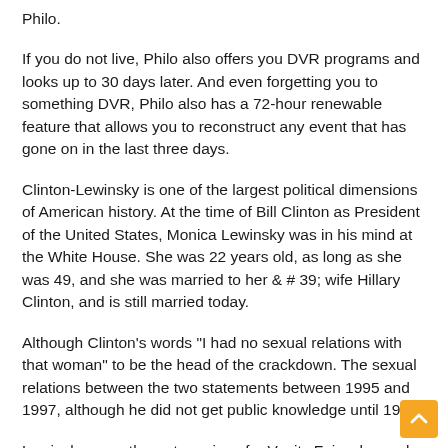Philo.
If you do not live, Philo also offers you DVR programs and looks up to 30 days later. And even forgetting you to something DVR, Philo also has a 72-hour renewable feature that allows you to reconstruct any event that has gone on in the last three days.
Clinton-Lewinsky is one of the largest political dimensions of American history. At the time of Bill Clinton as President of the United States, Monica Lewinsky was in his mind at the White House. She was 22 years old, as long as she was 49, and she was married to her & # 39; wife Hillary Clinton, and is still married today.
Although Clinton's words "I had no sexual relations with that woman" to be the head of the crackdown. The sexual relations between the two statements between 1995 and 1997, although he did not get public knowledge until 1998.
Lewinsky recently wrote a piece for Vanity Fair, who spoke on the television series and his / her emphasizing the scandal that